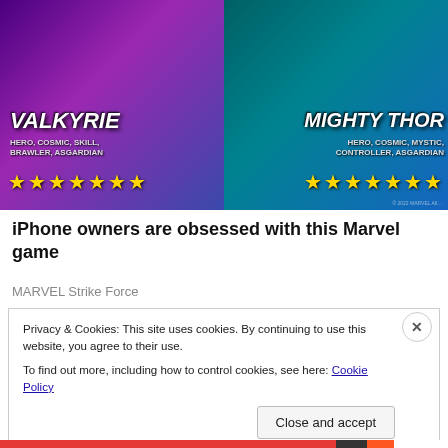[Figure (screenshot): Marvel Strike Force game advertisement showing Valkyrie and Mighty Thor characters with star ratings. Left panel: Valkyrie with tags HERO, COSMIC, SKILL, BRAWLER, ASGARDIAN and 7 gold stars. Right panel: Mighty Thor with tags HERO, COSMIC, MYSTIC, CONTROLLER, ASGARDIAN and 7 gold stars.]
iPhone owners are obsessed with this Marvel game
MARVEL Strike Force
Privacy & Cookies: This site uses cookies. By continuing to use this website, you agree to their use.
To find out more, including how to control cookies, see here: Cookie Policy
Close and accept